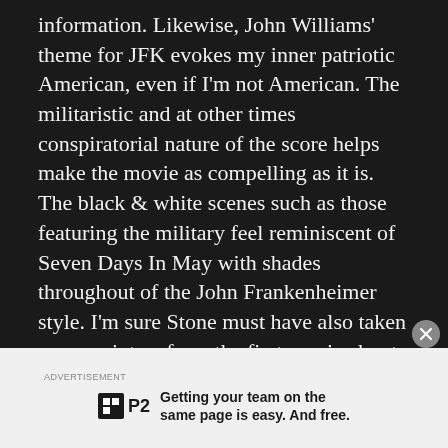information. Likewise, John Williams' theme for JFK evokes my inner patriotic American, even if I'm not American. The militaristic and at other times conspiratorial nature of the score helps make the movie as compelling as it is. The black & white scenes such as those featuring the military feel reminiscent of Seven Days In May with shades throughout of the John Frankenheimer style. I'm sure Stone must have also taken some pointers from the first movie about the Kennedy assassination, 1973's Executive Action.
[Figure (other): Advertisement banner: P2 logo with text 'Getting your team on the same page is easy. And free.']